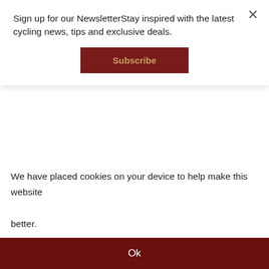Sign up for our NewsletterStay inspired with the latest cycling news, tips and exclusive deals.
Subscribe
[Figure (logo): Richardsons Cycles logo with dark red rectangle and bold italic text]
0 items (£0.00)
Brand : Raleigh
We have placed cookies on your device to help make this website better.
Ok